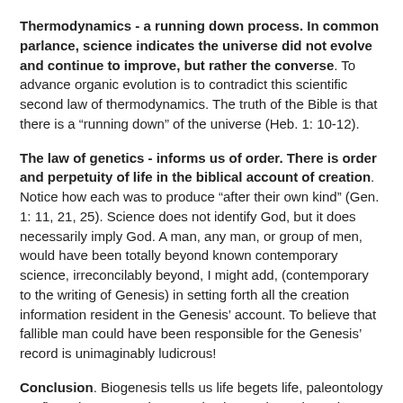Thermodynamics - a running down process. In common parlance, science indicates the universe did not evolve and continue to improve, but rather the converse. To advance organic evolution is to contradict this scientific second law of thermodynamics. The truth of the Bible is that there is a “running down” of the universe (Heb. 1: 10-12).
The law of genetics - informs us of order. There is order and perpetuity of life in the biblical account of creation. Notice how each was to produce “after their own kind” (Gen. 1: 11, 21, 25). Science does not identify God, but it does necessarily imply God. A man, any man, or group of men, would have been totally beyond known contemporary science, irreconcilably beyond, I might add, (contemporary to the writing of Genesis) in setting forth all the creation information resident in the Genesis’ account. To believe that fallible man could have been responsible for the Genesis’ record is unimaginably ludicrous!
Conclusion. Biogenesis tells us life begets life, paleontology confirms the account in Genesis, thermodynamics points to creation rather than